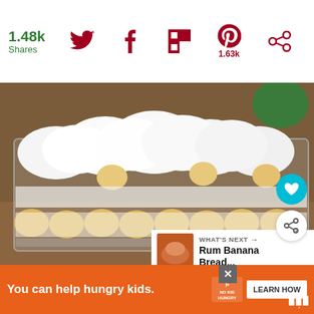1.48k Shares
[Figure (screenshot): Social share bar with Twitter, Facebook, Flipboard, Pinterest (1.63k), and another share icon on white background]
[Figure (photo): A glass baking dish filled with banana pudding: layers of vanilla wafers and cream, topped with whipped cream mounds. Background shows a colorful room setting.]
WHAT'S NEXT → Rum Banana Bread...
You can help hungry kids. NO KID HUNGRY LEARN HOW